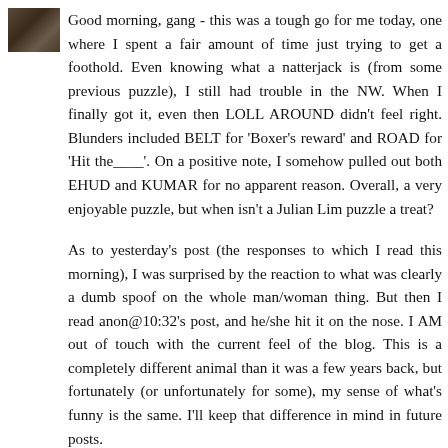[Figure (photo): Small avatar/profile photo thumbnail showing a group of people, brown/dark tones]
Good morning, gang - this was a tough go for me today, one where I spent a fair amount of time just trying to get a foothold. Even knowing what a natterjack is (from some previous puzzle), I still had trouble in the NW. When I finally got it, even then LOLL AROUND didn't feel right. Blunders included BELT for 'Boxer's reward' and ROAD for 'Hit the____'. On a positive note, I somehow pulled out both EHUD and KUMAR for no apparent reason. Overall, a very enjoyable puzzle, but when isn't a Julian Lim puzzle a treat?
As to yesterday's post (the responses to which I read this morning), I was surprised by the reaction to what was clearly a dumb spoof on the whole man/woman thing. But then I read anon@10:32's post, and he/she hit it on the nose. I AM out of touch with the current feel of the blog. This is a completely different animal than it was a few years back, but fortunately (or unfortunately for some), my sense of what's funny is the same. I'll keep that difference in mind in future posts.
Isn't it funny how much vitriol comes out when one has the mask of anonymity? What do you think makes a regular poster post under 'anon'? Can it really be anything other than lack of, uh,